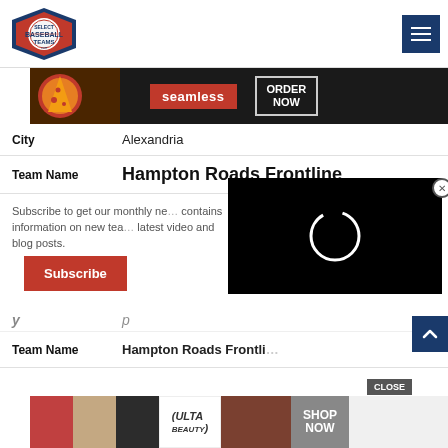[Figure (logo): SelectBaseballTeams.com logo — baseball with shield, red and navy]
[Figure (screenshot): Hamburger menu button, navy blue square with three white lines]
[Figure (screenshot): Seamless food delivery ad banner: pizza image, red Seamless label, ORDER NOW button]
| City |  |
| --- | --- |
| City | Alexandria |
| Team Name |  |
| --- | --- |
| Team Name | Hampton Roads Frontline |
Subscribe to get our monthly ne... contains information on new tea... latest video and blog posts.
[Figure (screenshot): Subscribe button, red with white text]
[Figure (screenshot): Video player overlay — black background with white loading spinner circle, close X button]
|  |  |
| --- | --- |
|  |  |
| Team Name |  |
| --- | --- |
| Team Name | Hampton Roads Frontli... |
[Figure (screenshot): Scroll to top button, navy blue with white chevron]
[Figure (screenshot): CLOSE button and Ulta Beauty advertisement banner at bottom]